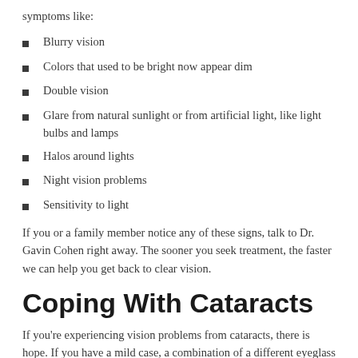symptoms like:
Blurry vision
Colors that used to be bright now appear dim
Double vision
Glare from natural sunlight or from artificial light, like light bulbs and lamps
Halos around lights
Night vision problems
Sensitivity to light
If you or a family member notice any of these signs, talk to Dr. Gavin Cohen right away. The sooner you seek treatment, the faster we can help you get back to clear vision.
Coping With Cataracts
If you're experiencing vision problems from cataracts, there is hope. If you have a mild case, a combination of a different eyeglass prescription and better lighting in your home, office